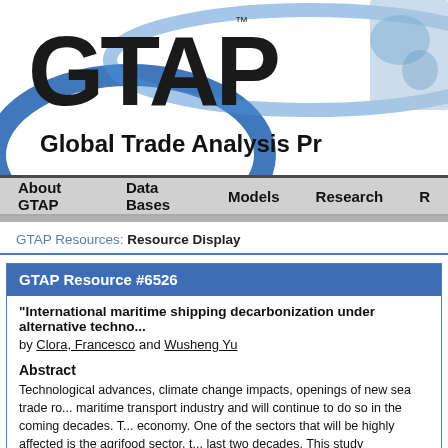[Figure (logo): GTAP Global Trade Analysis Project logo with blue swoosh arc and world map]
About GTAP   Data Bases   Models   Research   R
GTAP Resources: Resource Display
GTAP Resource #6526
"International maritime shipping decarbonization under alternative techno... by Clora, Francesco and Wusheng Yu
Abstract
Technological advances, climate change impacts, openings of new sea trade ro... maritime transport industry and will continue to do so in the coming decades. Th... economy. One of the sectors that will be highly affected is the agrifood sector, t... last two decades. This study investigates how decarbonization efforts in the ma... developments, can affect the agrifood sector. The paper does so by using a rec... against a baseline towards 2040. The scenarios simulate a reduction in global n... additional structural changes within the sector (e.g. in energy efficiency and fu...